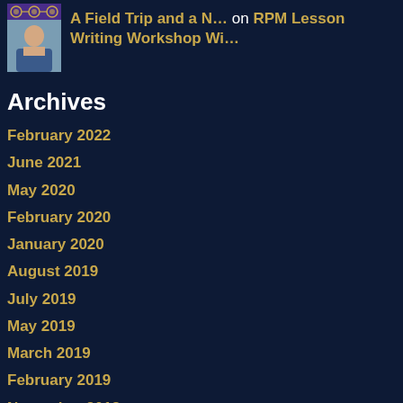[Figure (photo): Small decorative icon with purple geometric pattern above a photo of a young person in a blue jacket]
A Field Trip and a N… on RPM Lesson Writing Workshop Wi…
Archives
February 2022
June 2021
May 2020
February 2020
January 2020
August 2019
July 2019
May 2019
March 2019
February 2019
November 2018
October 2018
September 2018